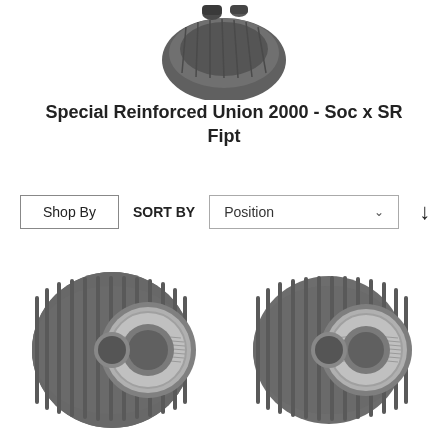[Figure (photo): Partial top view of a Special Reinforced Union 2000 fitting, cropped at top of page]
Special Reinforced Union 2000 - Soc x SR Fipt
Shop By
SORT BY  Position
[Figure (photo): Gray PVC Special Reinforced Union 2000 fitting with threaded metal insert, left product]
[Figure (photo): Gray PVC Special Reinforced Union 2000 fitting with threaded metal insert, right product]